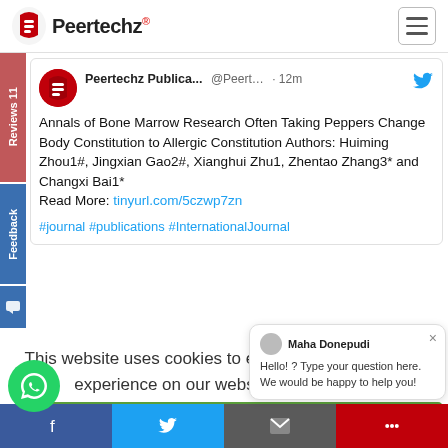Peertechz®
Peertechz Publica... @Peert... · 12m
Annals of Bone Marrow Research Often Taking Peppers Change Body Constitution to Allergic Constitution Authors: Huiming Zhou1#, Jingxian Gao2#, Xianghui Zhu1, Zhentao Zhang3* and Changxi Bai1*
Read More: tinyurl.com/5czwp7zn
#journal #publications #InternationalJournal
This website uses cookies to ensure you get the best experience on our website.  Learn more
Yes, I understand